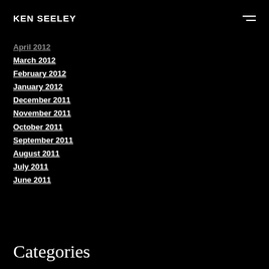KEN SEELEY
April 2012
March 2012
February 2012
January 2012
December 2011
November 2011
October 2011
September 2011
August 2011
July 2011
June 2011
Categories